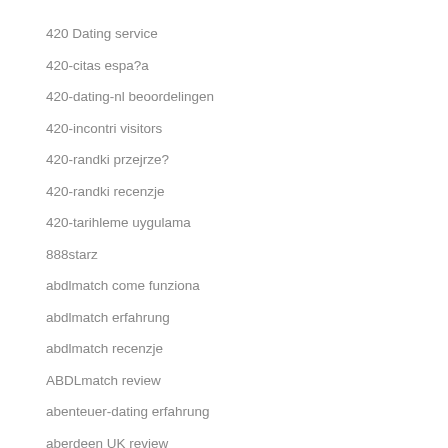420 Dating service
420-citas espa?a
420-dating-nl beoordelingen
420-incontri visitors
420-randki przejrze?
420-randki recenzje
420-tarihleme uygulama
888starz
abdlmatch come funziona
abdlmatch erfahrung
abdlmatch recenzje
ABDLmatch review
abenteuer-dating erfahrung
aberdeen UK review
abilene escort service